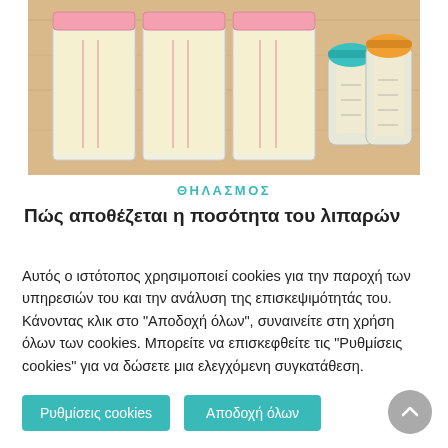[Figure (photo): Photo of breast milk storage bags (three standing pouches with pink closures containing pale yellow milk) and small baby bottles with teal and orange caps on a wooden surface.]
ΘΗΛΑΣΜΟΣ
Πώς αποθέζεται η ποσότητα του λιπαρών...
Αυτός ο ιστότοπος χρησιμοποιεί cookies για την παροχή των υπηρεσιών του και την ανάλυση της επισκεψιμότητάς του. Κάνοντας κλικ στο "Αποδοχή όλων", συναινείτε στη χρήση όλων των cookies. Μπορείτε να επισκεφθείτε τις "Ρυθμίσεις cookies" για να δώσετε μια ελεγχόμενη συγκατάθεση.
Ρυθμίσεις cookies
Αποδοχή όλων